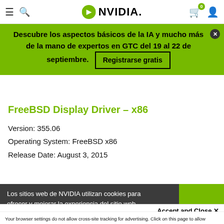NVIDIA website header with hamburger menu, search icon, NVIDIA logo, cart (0), and user icon
[Figure (screenshot): Green promotional banner: Descubre los aspectos básicos de la IA y mucho más de la mano de expertos en GTC del 19 al 22 de septiembre. Registrarse gratis button. Close X button.]
FreeBSD Display Driver – x86
Version: 355.06
Operating System: FreeBSD x86
Release Date: August 3, 2015
Los sitios web de NVIDIA utilizan cookies para ofrecer y mejorar la experiencia del sitio web.
Accept and Close ✕
Your browser settings do not allow cross-site tracking for advertising. Click on this page to allow AdRoll to use cross-site tracking to tailor ads to you. Learn more or opt out of this AdRoll tracking by clicking here. This message only appears once.